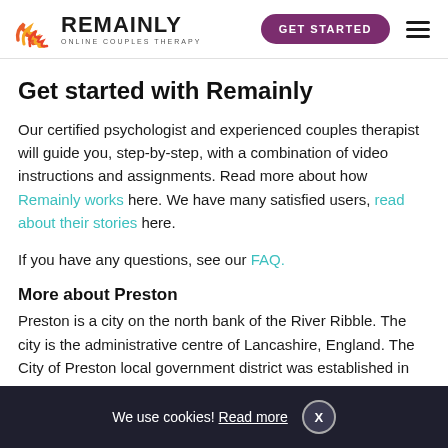REMAINLY | ONLINE COUPLES THERAPY — GET STARTED
Get started with Remainly
Our certified psychologist and experienced couples therapist will guide you, step-by-step, with a combination of video instructions and assignments. Read more about how Remainly works here. We have many satisfied users, read about their stories here.
If you have any questions, see our FAQ.
More about Preston
Preston is a city on the north bank of the River Ribble. The city is the administrative centre of Lancashire, England. The City of Preston local government district was established in 2002.
We use cookies! Read more  X